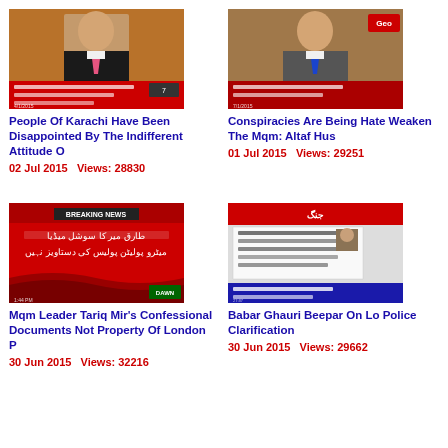[Figure (screenshot): News thumbnail showing a male TV anchor in suit with pink tie, Urdu text overlay on red banner]
People Of Karachi Have Been Disappointed By The Indifferent Attitude O
02 Jul 2015   Views: 28830
[Figure (screenshot): News thumbnail showing a male TV anchor in suit with blue tie, Geo News logo, Urdu text overlay]
Conspiracies Are Being Hate Weaken The Mqm: Altaf Hus
01 Jul 2015   Views: 29251
[Figure (screenshot): Breaking news thumbnail with red background, Urdu text, Dawn News logo]
Mqm Leader Tariq Mir's Confessional Documents Not Property Of London P
30 Jun 2015   Views: 32216
[Figure (screenshot): News thumbnail showing social media post screenshot with Urdu text at bottom]
Babar Ghauri Beepar On Lo Police Clarification
30 Jun 2015   Views: 29662